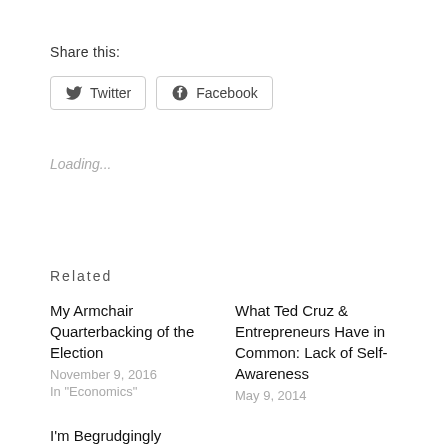Share this:
Twitter   Facebook
Loading...
Related
My Armchair Quarterbacking of the Election
November 9, 2016
In "Economics"
What Ted Cruz & Entrepreneurs Have in Common: Lack of Self-Awareness
May 9, 2014
I'm Begrudgingly Supporting Bernie
March 2, 2020